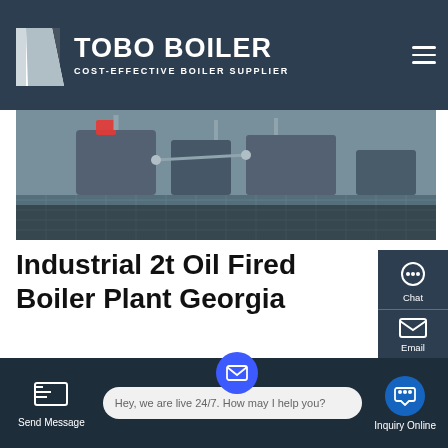TOBO BOILER — COST-EFFECTIVE BOILER SUPPLIER
[Figure (photo): Industrial boiler machinery equipment photo, showing metal framework and pipes with grey/blue tones]
Industrial 2t Oil Fired Boiler Plant Georgia
Industrial 4t Oil Condensing Boiler Russia. Commercial 6t oil fired Boiler Plant Russia 2t Oil Boiler Plant Price Commercial Azerbaijan. 4t natural gas fired boiler industrial automatic georgia. 46supplier 4t gas steam boiler bhutan25 Sep 2020 W ies oil,gas, fired,boiler, is a safe and high efficiency (98%) heating equipment high automation, it is fast
Send Message    Hey, we are live 24/7. How may I help you?    Inquiry Online